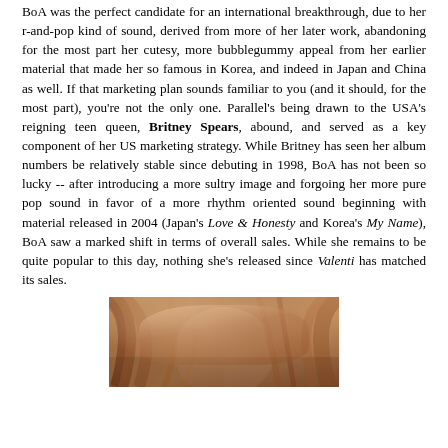BoA was the perfect candidate for an international breakthrough, due to her r-and-pop kind of sound, derived from more of her later work, abandoning for the most part her cutesy, more bubblegummy appeal from her earlier material that made her so famous in Korea, and indeed in Japan and China as well. If that marketing plan sounds familiar to you (and it should, for the most part), you're not the only one. Parallel's being drawn to the USA's reigning teen queen, Britney Spears, abound, and served as a key component of her US marketing strategy. While Britney has seen her album numbers be relatively stable since debuting in 1998, BoA has not been so lucky -- after introducing a more sultry image and forgoing her more pure pop sound in favor of a more rhythm oriented sound beginning with material released in 2004 (Japan's Love & Honesty and Korea's My Name), BoA saw a marked shift in terms of overall sales. While she remains to be quite popular to this day, nothing she's released since Valenti has matched its sales.
[Figure (photo): Partial photo of a person with reddish-brown hair, cropped at the bottom of the page]